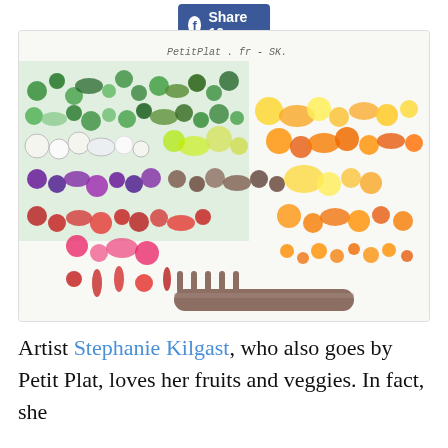[Figure (other): Facebook Share button with count '10']
[Figure (photo): Photograph of hundreds of fruits and vegetables arranged in a rainbow color gradient on a white surface, with a fork placed at the bottom center. Watermark reads 'PetitPlat.fr - SK.']
Artist Stephanie Kilgast, who also goes by Petit Plat, loves her fruits and veggies. In fact, she